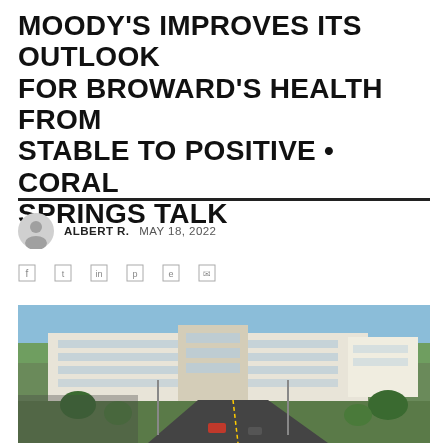MOODY'S IMPROVES ITS OUTLOOK FOR BROWARD'S HEALTH FROM STABLE TO POSITIVE • CORAL SPRINGS TALK
ALBERT R.  MAY 18, 2022
[Figure (photo): Aerial view of a large white hospital/medical complex building surrounded by trees and a road with cars, blue sky in background]